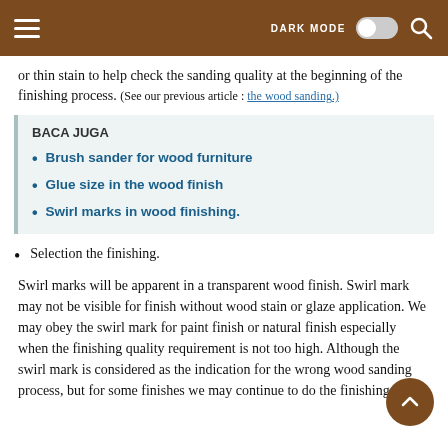DARK MODE [toggle] [search]
or thin stain to help check the sanding quality at the beginning of the finishing process. (See our previous article : the wood sanding.)
BACA JUGA
Brush sander for wood furniture
Glue size in the wood finish
Swirl marks in wood finishing.
Selection the finishing.
Swirl marks will be apparent in a transparent wood finish. Swirl mark may not be visible for finish without wood stain or glaze application. We may obey the swirl mark for paint finish or natural finish especially when the finishing quality requirement is not too high. Although the swirl mark is considered as the indication for the wrong wood sanding process, but for some finishes we may continue to do the finishing.